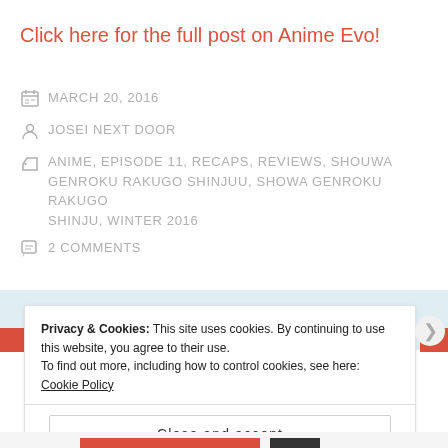Click here for the full post on Anime Evo!
MARCH 20, 2016
JOSEI NEXT DOOR
ANIME, EPISODE 11, RECAPS, REVIEWS, SHOUWA GENROKU RAKUGO SHINJUU, SHOWA GENROKU RAKUGO SHINJU, WINTER 2016
2 COMMENTS
Privacy & Cookies: This site uses cookies. By continuing to use this website, you agree to their use. To find out more, including how to control cookies, see here: Cookie Policy
Close and accept